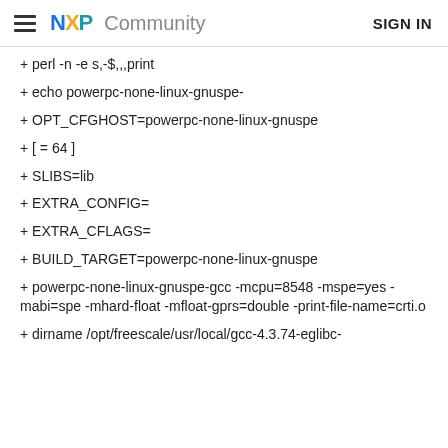NXP Community   SIGN IN
+ perl -n -e s,-$,,,print
+ echo powerpc-none-linux-gnuspe-
+ OPT_CFGHOST=powerpc-none-linux-gnuspe
+ [  = 64 ]
+ SLIBS=lib
+ EXTRA_CONFIG=
+ EXTRA_CFLAGS=
+ BUILD_TARGET=powerpc-none-linux-gnuspe
+ powerpc-none-linux-gnuspe-gcc -mcpu=8548 -mspe=yes -mabi=spe -mhard-float -mfloat-gprs=double -print-file-name=crti.o
+ dirname /opt/freescale/usr/local/gcc-4.3.74-eglibc-